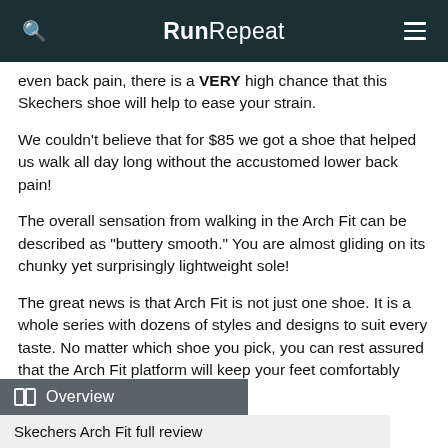RunRepeat
even back pain, there is a VERY high chance that this Skechers shoe will help to ease your strain.
We couldn't believe that for $85 we got a shoe that helped us walk all day long without the accustomed lower back pain!
The overall sensation from walking in the Arch Fit can be described as "buttery smooth." You are almost gliding on its chunky yet surprisingly lightweight sole!
The great news is that Arch Fit is not just one shoe. It is a whole series with dozens of styles and designs to suit every taste. No matter which shoe you pick, you can rest assured that the Arch Fit platform will keep your feet comfortably supported.
Overview — Skechers Arch Fit full review